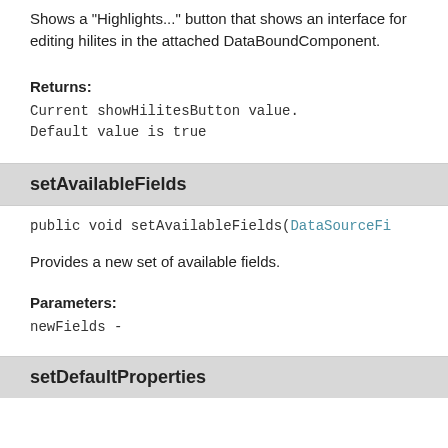Shows a "Highlights..." button that shows an interface for editing hilites in the attached DataBoundComponent.
Returns:
Current showHilitesButton value. Default value is true
setAvailableFields
public void setAvailableFields(DataSourceFi...
Provides a new set of available fields.
Parameters:
newFields -
setDefaultProperties